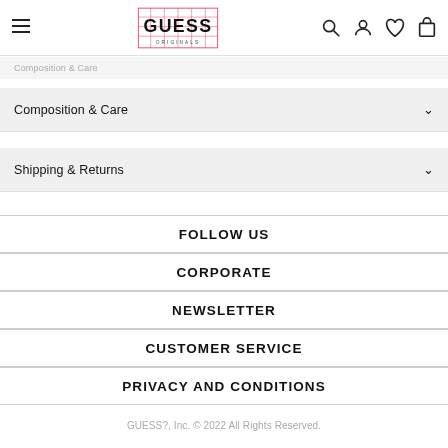GUESS Originals — navigation header with hamburger menu, logo, search, account, wishlist, cart icons
Composition & Care
Shipping & Returns
FOLLOW US
CORPORATE
NEWSLETTER
CUSTOMER SERVICE
PRIVACY AND CONDITIONS
GUESS?, Inc. © 2022 All Rights Reserved.